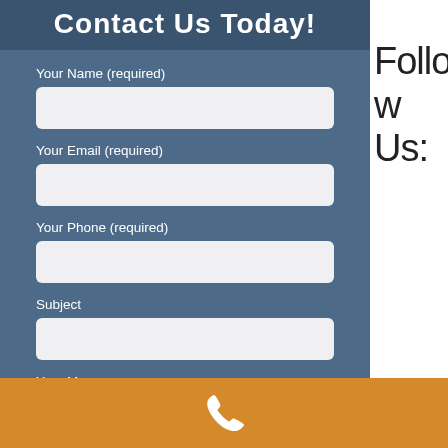Contact Us Today!
Your Name (required)
Your Email (required)
Your Phone (required)
Subject
Your Message
Follow
Us:
[Figure (illustration): White telephone/phone handset icon on orange background footer bar]